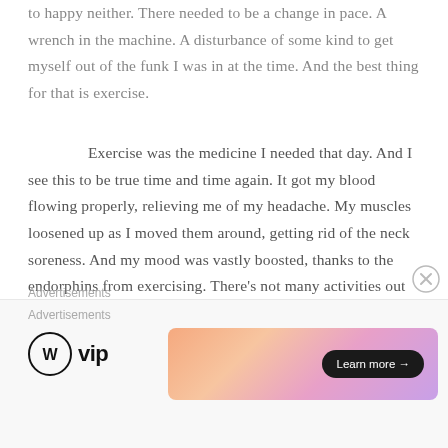to happy neither. There needed to be a change in pace. A wrench in the machine. A disturbance of some kind to get myself out of the funk I was in at the time. And the best thing for that is exercise.
Exercise was the medicine I needed that day. And I see this to be true time and time again. It got my blood flowing properly, relieving me of my headache. My muscles loosened up as I moved them around, getting rid of the neck soreness. And my mood was vastly boosted, thanks to the endorphins from exercising. There's not many activities out there that can have that positive of an effect on such a range of things.
Advertisements
AUTOMATTIC
Advertisements
[Figure (other): WordPress VIP logo on the left, and an advertisement banner with a gradient background (orange to pink to purple) and a 'Learn more →' button on the right, with a close (X) button.]